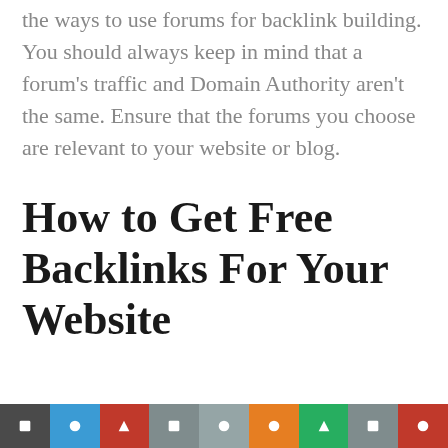the ways to use forums for backlink building. You should always keep in mind that a forum's traffic and Domain Authority aren't the same. Ensure that the forums you choose are relevant to your website or blog.
How to Get Free Backlinks For Your Website